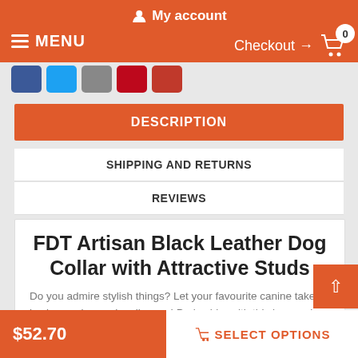My account  MENU  Checkout → 0
[Figure (screenshot): Social sharing buttons row: Facebook (blue), Twitter (light blue), Google+ (grey), Pinterest (red), Email (dark red)]
DESCRIPTION
SHIPPING AND RETURNS
REVIEWS
FDT Artisan Black Leather Dog Collar with Attractive Studs
Do you admire stylish things? Let your favourite canine take joy in wearing such collars on! Praise him with this impressive leather dog collar with decorations from FDT Artisan. This gear is
$52.70  SELECT OPTIONS